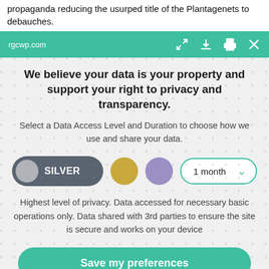propaganda reducing the usurped title of the Plantagenets to debauches.
rgcwp.com
We believe your data is your property and support your right to privacy and transparency.
Select a Data Access Level and Duration to choose how we use and share your data.
[Figure (infographic): Privacy level selector with SILVER pill toggle, gold circle, purple circle, and 1 month dropdown]
Highest level of privacy. Data accessed for necessary basic operations only. Data shared with 3rd parties to ensure the site is secure and works on your device
Save my preferences
Customize
Privacy policy